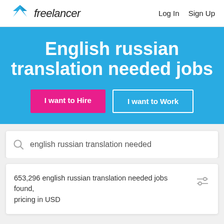freelancer  Log In  Sign Up
English russian translation needed jobs
I want to Hire
I want to Work
english russian translation needed
653,296 english russian translation needed jobs found, pricing in USD